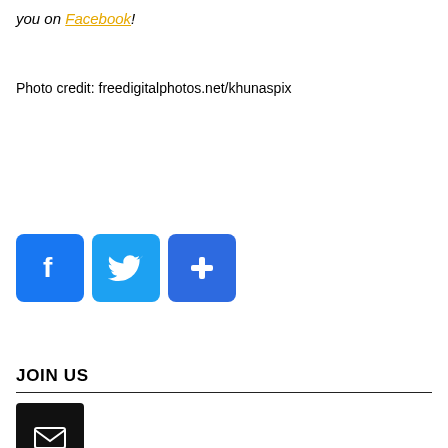on Facebook!
Photo credit: freedigitalphotos.net/khunaspix
[Figure (infographic): Three social media share buttons: Facebook (blue with F icon), Twitter (blue with bird icon), and a generic share/plus button (blue with + icon)]
JOIN US
[Figure (infographic): Email subscribe button - dark/black square icon with white envelope symbol]